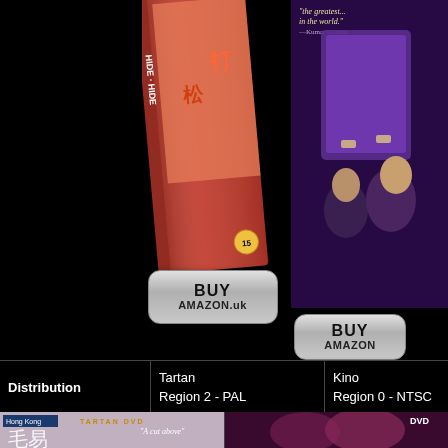[Figure (photo): DVD cover for a Japanese film, red/orange color, partially visible, rotated]
[Figure (photo): BUY on AMAZON.uk silver button]
[Figure (photo): Right column movie DVD cover with actors, dark background, book being held]
[Figure (photo): BUY on AMAZON silver button (right column, top)]
[Figure (photo): BUY on AMAZON silver button (right column, middle)]
[Figure (photo): BUY on AMAZON silver button (right column, bottom)]
| Distribution |  |  |
| --- | --- | --- |
| Distribution | Tartan
Region 2 - PAL | Kino
Region 0 - NTSC |
[Figure (photo): Bottom left screenshot: Hong Kong Tartan DVD cover with Chinese characters, 'A cut above']
[Figure (photo): Bottom right screenshot: DVD cover with couple embracing, dark/purple tones]